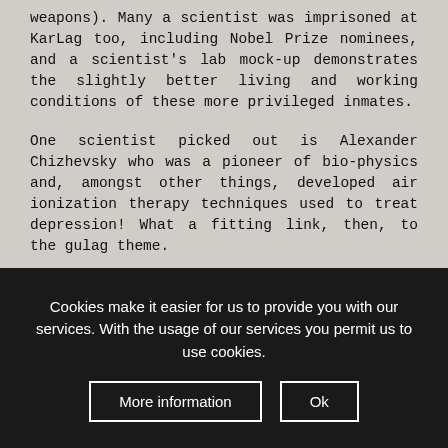weapons). Many a scientist was imprisoned at KarLag too, including Nobel Prize nominees, and a scientist's lab mock-up demonstrates the slightly better living and working conditions of these more privileged inmates.
One scientist picked out is Alexander Chizhevsky who was a pioneer of bio-physics and, amongst other things, developed air ionization therapy techniques used to treat depression! What a fitting link, then, to the gulag theme.
The depressing issue of the fate of orphans is picked up in a special room too, incorporating a small original cot/playpen, felt boots, letters and pictures (also one of the Mamochkino cemetery – see below). In this context one painting showing Stalin surrounded by
Cookies make it easier for us to provide you with our services. With the usage of our services you permit us to use cookies.
More information
Ok